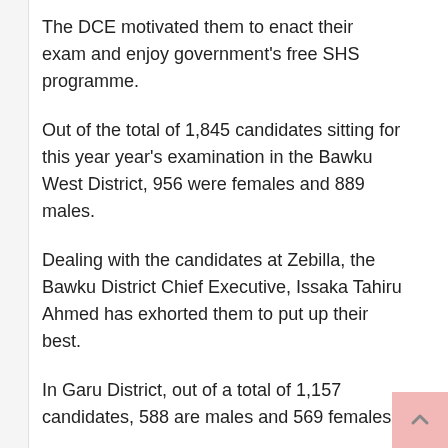The DCE motivated them to enact their exam and enjoy government's free SHS programme.
Out of the total of 1,845 candidates sitting for this year year's examination in the Bawku West District, 956 were females and 889 males.
Dealing with the candidates at Zebilla, the Bawku District Chief Executive, Issaka Tahiru Ahmed has exhorted them to put up their best.
In Garu District, out of a total of 1,157 candidates, 588 are males and 569 females.
At Tempane in the Tempane District, a total of 1,344 candidates were expected to sit for the